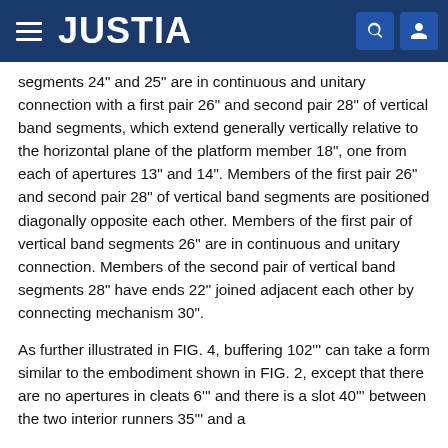JUSTIA
segments 24" and 25" are in continuous and unitary connection with a first pair 26" and second pair 28" of vertical band segments, which extend generally vertically relative to the horizontal plane of the platform member 18", one from each of apertures 13" and 14". Members of the first pair 26" and second pair 28" of vertical band segments are positioned diagonally opposite each other. Members of the first pair of vertical band segments 26" are in continuous and unitary connection. Members of the second pair of vertical band segments 28" have ends 22" joined adjacent each other by connecting mechanism 30".
As further illustrated in FIG. 4, buffering 102''' can take a form similar to the embodiment shown in FIG. 2, except that there are no apertures in cleats 6''' and there is a slot 40''' between the two interior runners 35''' and a